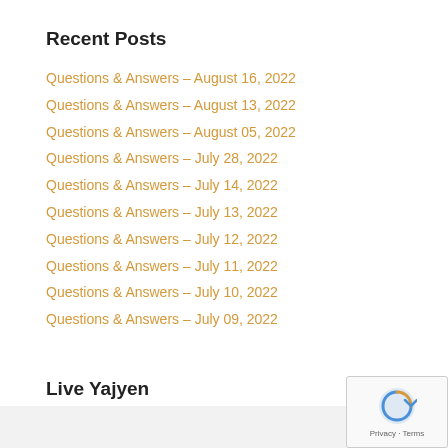Recent Posts
Questions & Answers – August 16, 2022
Questions & Answers – August 13, 2022
Questions & Answers – August 05, 2022
Questions & Answers – July 28, 2022
Questions & Answers – July 14, 2022
Questions & Answers – July 13, 2022
Questions & Answers – July 12, 2022
Questions & Answers – July 11, 2022
Questions & Answers – July 10, 2022
Questions & Answers – July 09, 2022
Live Yajyen